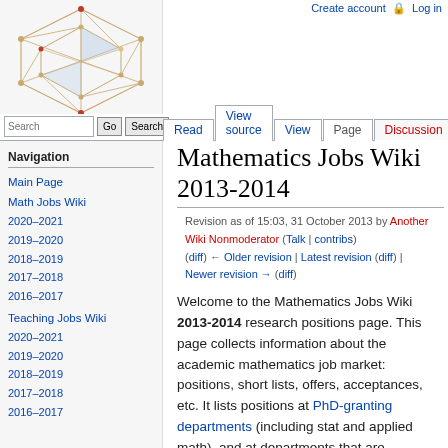Create account  Log in
[Figure (logo): Wikipedia-style geometric hexagonal logo with interconnected nodes and lines in orange/brown tones]
Read  View source  View  Page  Discussion
Navigation
Main Page
Math Jobs Wiki
2020–2021
2019–2020
2018–2019
2017–2018
2016–2017
Teaching Jobs Wiki
2020–2021
2019–2020
2018–2019
2017–2018
2016–2017
Mathematics Jobs Wiki 2013-2014
Revision as of 15:03, 31 October 2013 by Another Wiki Nonmoderator (Talk | contribs) (diff) ← Older revision | Latest revision (diff) | Newer revision → (diff)
Welcome to the Mathematics Jobs Wiki 2013-2014 research positions page. This page collects information about the academic mathematics job market: positions, short lists, offers, acceptances, etc. It lists positions at PhD-granting departments (including stat and applied math), and at departments that are research-oriented by other reasonable criteria. See the teaching positions page for more teaching-oriented academic math jobs.